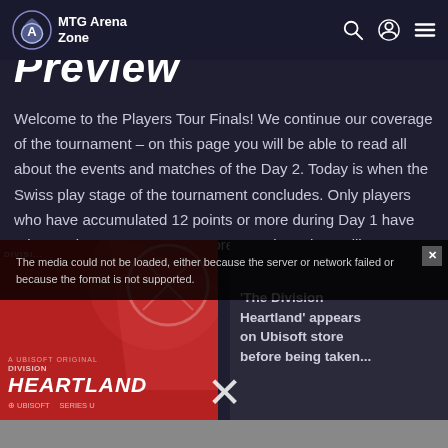MTG Arena Zone
Preview
Welcome to the Players Tour Finals! We continue our coverage of the tournament – on this page you will be able to read all about the events and matches of the Day 2. Today is when the Swiss play stage of the tournament concludes. Only players who have accumulated 12 points or more during Day 1 have advanced to Day 2 – seven more rounds and we will
[Figure (screenshot): Advertisement showing 'The Division Heartland' game on Ubisoft store, partially overlaid with a media error message: 'The media could not be loaded, either because the server or network failed or because the format is not supported.' Close buttons visible.]
'The Division Heartland' appears on Ubisoft store before being taken...